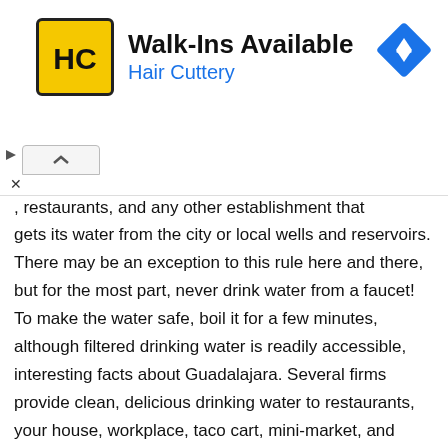[Figure (infographic): Hair Cuttery advertisement banner with yellow HC logo, Walk-Ins Available title, and blue Hair Cuttery subtitle. Navigation icon in top right. Collapse button and close controls on left side.]
, restaurants, and any other establishment that gets its water from the city or local wells and reservoirs. There may be an exception to this rule here and there, but for the most part, never drink water from a faucet! To make the water safe, boil it for a few minutes, although filtered drinking water is readily accessible, interesting facts about Guadalajara. Several firms provide clean, delicious drinking water to restaurants, your house, workplace, taco cart, mini-market, and wherever else you can think of. Also, no one makes ice using tap water at their restaurant; it's not environmentally friendly.